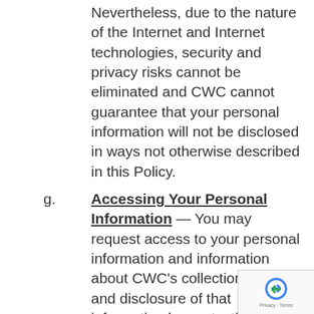Nevertheless, due to the nature of the Internet and Internet technologies, security and privacy risks cannot be eliminated and CWC cannot guarantee that your personal information will not be disclosed in ways not otherwise described in this Policy.
g. Accessing Your Personal Information — You may request access to your personal information and information about CWC's collection, use and disclosure of that information by contacting CWC at